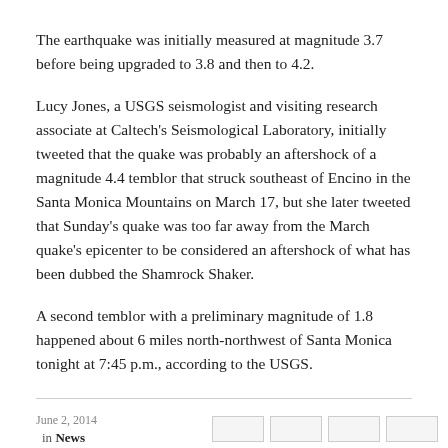The earthquake was initially measured at magnitude 3.7 before being upgraded to 3.8 and then to 4.2.
Lucy Jones, a USGS seismologist and visiting research associate at Caltech's Seismological Laboratory, initially tweeted that the quake was probably an aftershock of a magnitude 4.4 temblor that struck southeast of Encino in the Santa Monica Mountains on March 17, but she later tweeted that Sunday's quake was too far away from the March quake's epicenter to be considered an aftershock of what has been dubbed the Shamrock Shaker.
A second temblor with a preliminary magnitude of 1.8 happened about 6 miles north-northwest of Santa Monica tonight at 7:45 p.m., according to the USGS.
June 2, 2014
in News